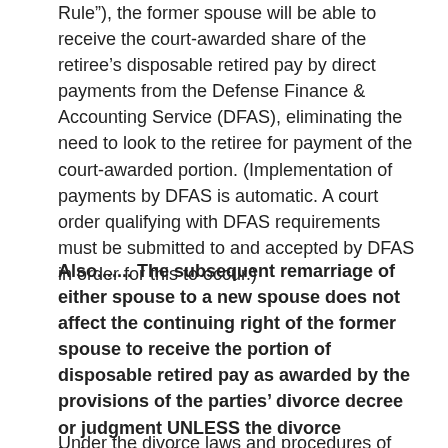Rule"), the former spouse will be able to receive the court-awarded share of the retiree’s disposable retired pay by direct payments from the Defense Finance & Accounting Service (DFAS), eliminating the need to look to the retiree for payment of the court-awarded portion. (Implementation of payments by DFAS is automatic. A court order qualifying with DFAS requirements must be submitted to and accepted by DFAS in order for this to occur.)
Also....... The subsequent remarriage of either spouse to a new spouse does not affect the continuing right of the former spouse to receive the portion of disposable retired pay as awarded by the provisions of the parties’ divorce decree or judgment UNLESS the divorce judgment or decree expressly so provides.
Under the divorce laws and procedures of most states,